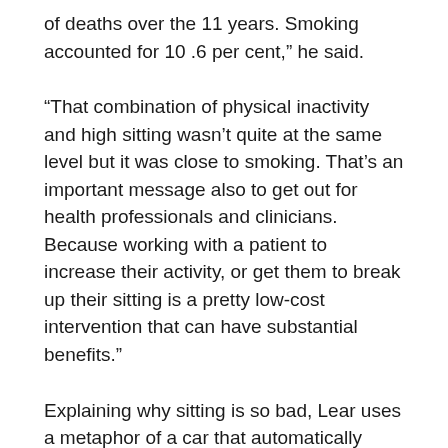of deaths over the 11 years. Smoking accounted for 10 .6 per cent,” he said.
“That combination of physical inactivity and high sitting wasn’t quite at the same level but it was close to smoking. That’s an important message also to get out for health professionals and clinicians. Because working with a patient to increase their activity, or get them to break up their sitting is a pretty low-cost intervention that can have substantial benefits.”
Explaining why sitting is so bad, Lear uses a metaphor of a car that automatically stops running when stopped at a red light.